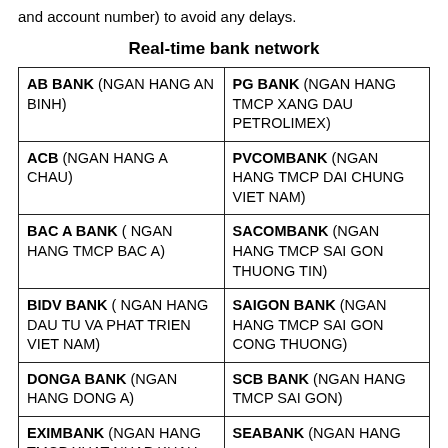and account number) to avoid any delays.
Real-time bank network
| AB BANK (NGAN HANG AN BINH) | PG BANK (NGAN HANG TMCP XANG DAU PETROLIMEX) |
| ACB (NGAN HANG A CHAU) | PVCOMBANK (NGAN HANG TMCP DAI CHUNG VIET NAM) |
| BAC A BANK ( NGAN HANG TMCP BAC A) | SACOMBANK (NGAN HANG TMCP SAI GON THUONG TIN) |
| BIDV BANK ( NGAN HANG DAU TU VA PHAT TRIEN VIET NAM) | SAIGON BANK (NGAN HANG TMCP SAI GON CONG THUONG) |
| DONGA BANK (NGAN HANG DONG A) | SCB BANK (NGAN HANG TMCP SAI GON) |
| EXIMBANK (NGAN HANG TMCP XUAT NHAP KHAU) | SEABANK (NGAN HANG...) |